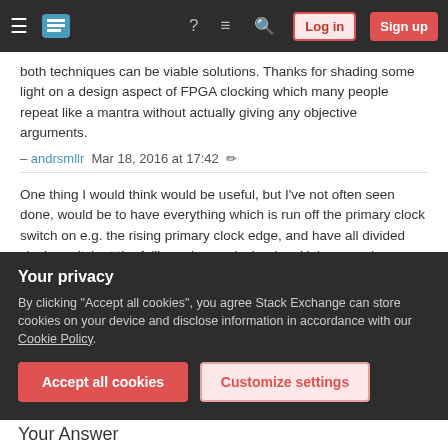Stack Exchange navigation bar with hamburger menu, logo, help, chat, search icons, Log in and Sign up buttons
both techniques can be viable solutions. Thanks for shading some light on a design aspect of FPGA clocking which many people repeat like a mantra without actually giving any objective arguments.
– andrsmllr  Mar 18, 2016 at 17:42 ✏
One thing I would think would be useful, but I've not often seen done, would be to have everything which is run off the primary clock switch on e.g. the rising primary clock edge, and have all divided clocks switch at the falling primary clock edge. Unless one is pushing the limits of device speed, that would allow signals to cross clock domains without delay (signals passing between divided domains could be cleaned up without
Your privacy
By clicking "Accept all cookies", you agree Stack Exchange can store cookies on your device and disclose information in accordance with our Cookie Policy.
Accept all cookies
Customize settings
Your Answer